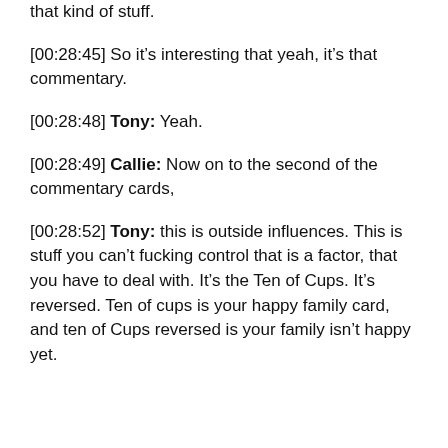that kind of stuff.
[00:28:45] So it's interesting that yeah, it's that commentary.
[00:28:48] Tony: Yeah.
[00:28:49] Callie: Now on to the second of the commentary cards,
[00:28:52] Tony: this is outside influences. This is stuff you can't fucking control that is a factor, that you have to deal with. It's the Ten of Cups. It's reversed. Ten of cups is your happy family card, and ten of Cups reversed is your family isn't happy yet.